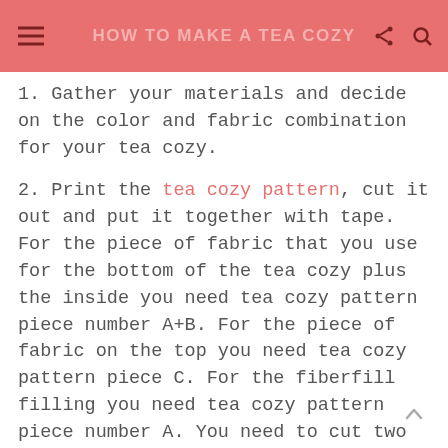HOW TO MAKE A TEA COZY
1. Gather your materials and decide on the color and fabric combination for your tea cozy.
2. Print the tea cozy pattern, cut it out and put it together with tape. For the piece of fabric that you use for the bottom of the tea cozy plus the inside you need tea cozy pattern piece number A+B. For the piece of fabric on the top you need tea cozy pattern piece C. For the fiberfill filling you need tea cozy pattern piece number A. You need to cut two pieces of fabric / fiberfill for each tea cozy pattern piece. One for the front and one for the the back of your tea cozy